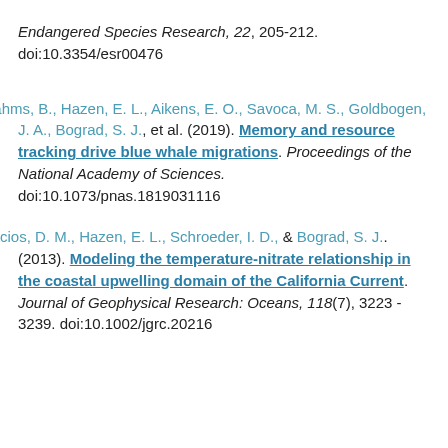Endangered Species Research, 22, 205-212. doi:10.3354/esr00476
Abrahms, B., Hazen, E. L., Aikens, E. O., Savoca, M. S., Goldbogen, J. A., Bograd, S. J., et al. (2019). Memory and resource tracking drive blue whale migrations. Proceedings of the National Academy of Sciences. doi:10.1073/pnas.1819031116
Palacios, D. M., Hazen, E. L., Schroeder, I. D., & Bograd, S. J.. (2013). Modeling the temperature-nitrate relationship in the coastal upwelling domain of the California Current. Journal of Geophysical Research: Oceans, 118(7), 3223 - 3239. doi:10.1002/jgrc.20216